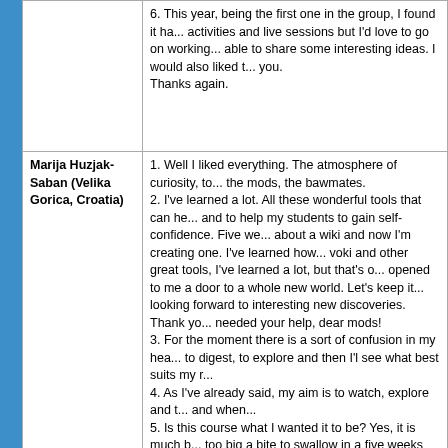|  | 6. This year, being the first one in the group, I found it ha... activities and live sessions but I'd love to go on working... able to share some interesting ideas. I would also liked t... you.
Thanks again. |
| Marija Huzjak-Saban (Velika Gorica, Croatia) | 1. Well I liked everything. The atmosphere of curiosity, to... the mods, the bawmates.
2. I've learned a lot. All these wonderful tools that can he... and to help my students to gain self-confidence. Five we... about a wiki and now I'm creating one. I've learned how... voki and other great tools, I've learned a lot, but that's o... opened to me a door to a whole new world. Let's keep it... looking forward to interesting new discoveries. Thank yo... needed your help, dear mods!
3. For the moment there is a sort of confusion in my hea... to digest, to explore and then I'l see what best suits my r...
4. As I've already said, my aim is to watch, explore and t... and when...
5. Is this course what I wanted it to be? Yes, it is much b... too big a bite to swallow in a five weeks time.
6. At the end I could just send a big, big THANK YOU to... this time spent together. and let's stay in touch... |